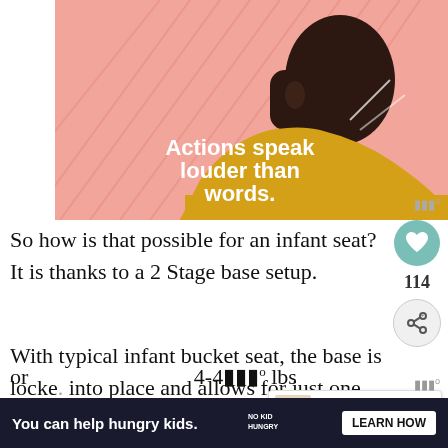[Figure (illustration): Illustration of a person viewed from behind wearing a yellow turtleneck sweater, with pink background featuring radiating lines. Text on the sweater reads 'Actions speak louder than words.']
So how is that possible for an infant seat? It is thanks to a 2 Stage base setup.
With typical infant bucket seat, the base is locked into place and allows for just one setting a deep recline that is necessary of a newborn car seat. However, the Chicco Fit2 offers two stages— or 4-44 lbs
[Figure (infographic): WHAT'S NEXT arrow label with thumbnail image. Text: Baby Gear Review: The...]
You can help hungry kids. NO KID HUNGRY LEARN HOW